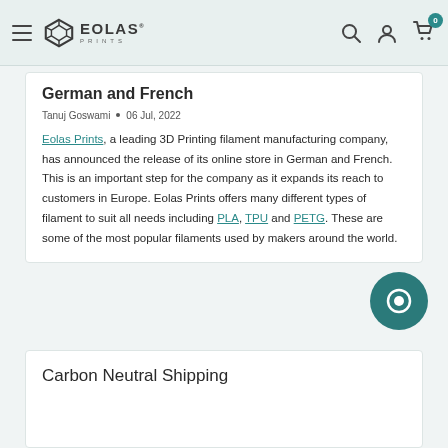Eolas Prints — navigation bar with logo, search, account, cart (0)
German and French
Tanuj Goswami  •  06 Jul, 2022
Eolas Prints, a leading 3D Printing filament manufacturing company, has announced the release of its online store in German and French. This is an important step for the company as it expands its reach to customers in Europe. Eolas Prints offers many different types of filament to suit all needs including PLA, TPU and PETG. These are some of the most popular filaments used by makers around the world.
Carbon Neutral Shipping